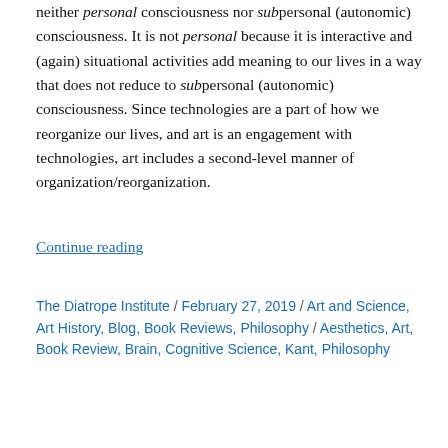neither personal consciousness nor subpersonal (autonomic) consciousness. It is not personal because it is interactive and (again) situational activities add meaning to our lives in a way that does not reduce to subpersonal (autonomic) consciousness. Since technologies are a part of how we reorganize our lives, and art is an engagement with technologies, art includes a second-level manner of organization/reorganization.
Continue reading
The Diatrope Institute / February 27, 2019 / Art and Science, Art History, Blog, Book Reviews, Philosophy / Aesthetics, Art, Book Review, Brain, Cognitive Science, Kant, Philosophy